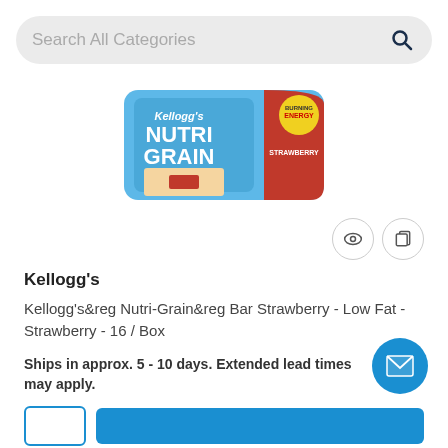Search All Categories
[Figure (photo): Kellogg's Nutri-Grain Strawberry bar product package in blue and red packaging]
Kellogg's
Kellogg's&reg Nutri-Grain&reg Bar Strawberry - Low Fat - Strawberry - 16 / Box
Ships in approx. 5 - 10 days. Extended lead times may apply.
Item Code: KEB35945
Category: Snacks
$13.19 / BX